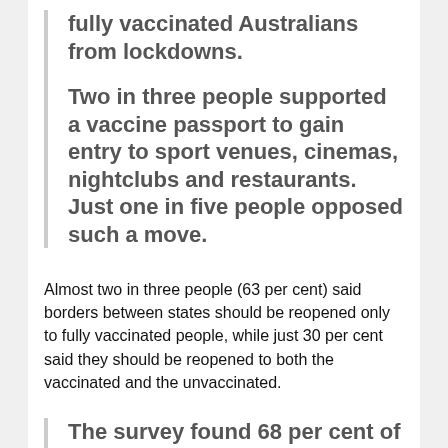fully vaccinated Australians from lockdowns.
Two in three people supported a vaccine passport to gain entry to sport venues, cinemas, nightclubs and restaurants. Just one in five people opposed such a move.
Almost two in three people (63 per cent) said borders between states should be reopened only to fully vaccinated people, while just 30 per cent said they should be reopened to both the vaccinated and the unvaccinated.
The survey found 68 per cent of people supported the resumption of overseas travel for vaccinated people only.